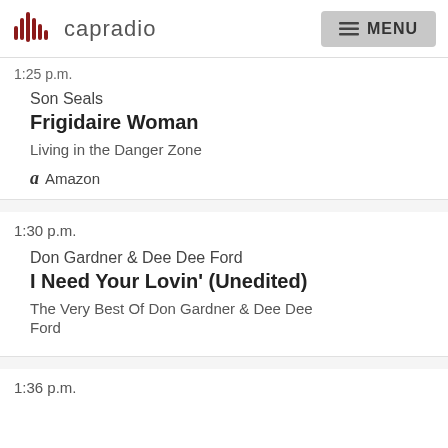capradio  MENU
1:25 p.m.
Son Seals
Frigidaire Woman
Living in the Danger Zone
Amazon
1:30 p.m.
Don Gardner & Dee Dee Ford
I Need Your Lovin' (Unedited)
The Very Best Of Don Gardner & Dee Dee Ford
1:36 p.m.